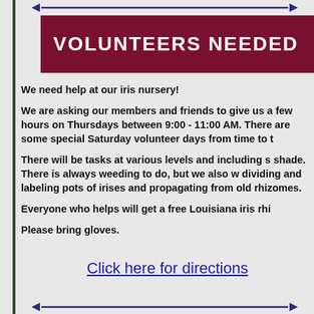VOLUNTEERS NEEDED
We need help at our iris nursery!
We are asking our members and friends to give us a few hours on Thursdays between 9:00 - 11:00 AM. There are some special Saturday volunteer days from time to time.
There will be tasks at various levels and including some shade. There is always weeding to do, but we also work dividing and labeling pots of irises and propagating from old rhizomes.
Everyone who helps will get a free Louisiana iris rhizome.
Please bring gloves.
Click here for directions